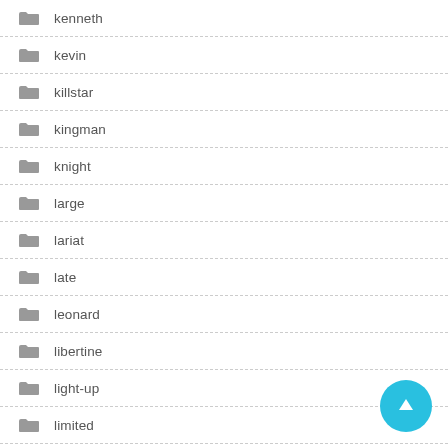kenneth
kevin
killstar
kingman
knight
large
lariat
late
leonard
libertine
light-up
limited